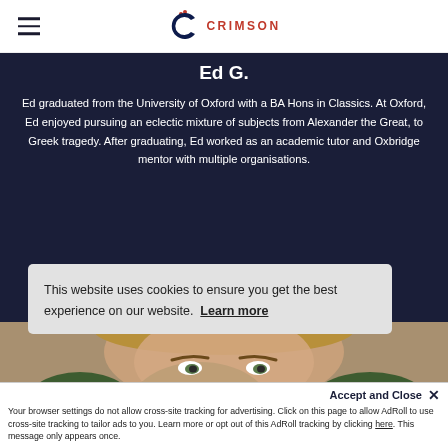CRIMSON
Ed G.
Ed graduated from the University of Oxford with a BA Hons in Classics. At Oxford, Ed enjoyed pursuing an eclectic mixture of subjects from Alexander the Great, to Greek tragedy. After graduating, Ed worked as an academic tutor and Oxbridge mentor with multiple organisations.
[Figure (photo): Partial photo of a person with blonde hair and outdoor greenery background]
This website uses cookies to ensure you get the best experience on our website. Learn more
Accept and Close ✕
Your browser settings do not allow cross-site tracking for advertising. Click on this page to allow AdRoll to use cross-site tracking to tailor ads to you. Learn more or opt out of this AdRoll tracking by clicking here. This message only appears once.